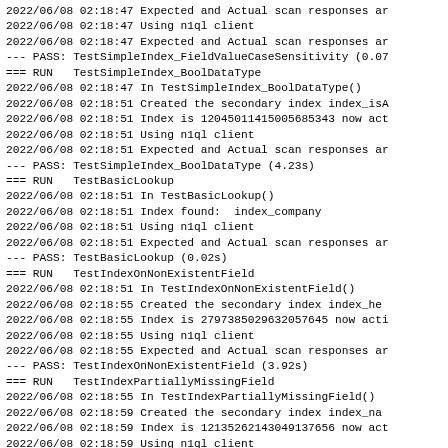2022/06/08 02:18:47 Expected and Actual scan responses ar
2022/06/08 02:18:47 Using n1ql client
2022/06/08 02:18:47 Expected and Actual scan responses ar
--- PASS: TestSimpleIndex_FieldValueCaseSensitivity (0.07
=== RUN   TestSimpleIndex_BoolDataType
2022/06/08 02:18:47 In TestSimpleIndex_BoolDataType()
2022/06/08 02:18:51 Created the secondary index index_isA
2022/06/08 02:18:51 Index is 12045011415005685343 now act
2022/06/08 02:18:51 Using n1ql client
2022/06/08 02:18:51 Expected and Actual scan responses ar
--- PASS: TestSimpleIndex_BoolDataType (4.23s)
=== RUN   TestBasicLookup
2022/06/08 02:18:51 In TestBasicLookup()
2022/06/08 02:18:51 Index found:  index_company
2022/06/08 02:18:51 Using n1ql client
2022/06/08 02:18:51 Expected and Actual scan responses ar
--- PASS: TestBasicLookup (0.02s)
=== RUN   TestIndexOnNonExistentField
2022/06/08 02:18:51 In TestIndexOnNonExistentField()
2022/06/08 02:18:55 Created the secondary index index_he
2022/06/08 02:18:55 Index is 2797385029632057645 now acti
2022/06/08 02:18:55 Using n1ql client
2022/06/08 02:18:55 Expected and Actual scan responses ar
--- PASS: TestIndexOnNonExistentField (3.92s)
=== RUN   TestIndexPartiallyMissingField
2022/06/08 02:18:55 In TestIndexPartiallyMissingField()
2022/06/08 02:18:59 Created the secondary index index_na
2022/06/08 02:18:59 Index is 12135262143049137656 now act
2022/06/08 02:18:59 Using n1ql client
2022/06/08 02:18:59 Expected and Actual scan responses ar